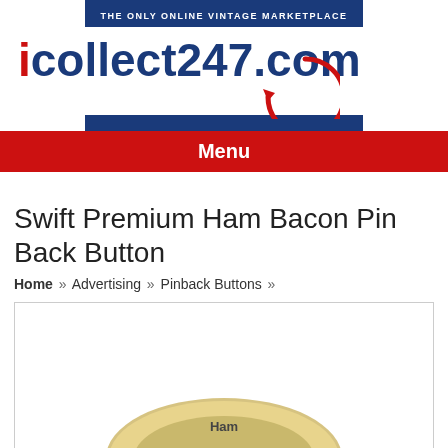THE ONLY ONLINE VINTAGE MARKETPLACE
[Figure (logo): icollect247.com logo with red 'i', dark blue 'collect247.com' text and red circular arrow]
Menu
Swift Premium Ham Bacon Pin Back Button
Home » Advertising » Pinback Buttons »
[Figure (photo): A vintage Swift Premium Ham Bacon pin back button, partially visible at bottom of image box]